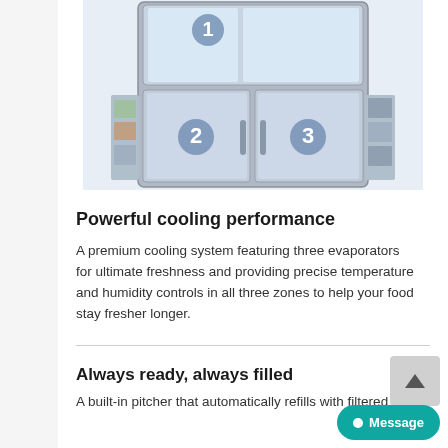[Figure (photo): A French door refrigerator with doors open showing three cooling zones numbered 1, 2, and 3 inside the refrigerator compartments.]
Powerful cooling performance
A premium cooling system featuring three evaporators for ultimate freshness and providing precise temperature and humidity controls in all three zones to help your food stay fresher longer.
Always ready, always filled
A built-in pitcher that automatically refills with filtered